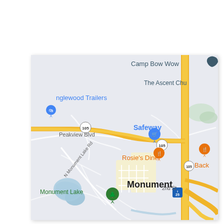[Figure (map): Google Maps screenshot showing Monument, Colorado area. Shows Route 105 (Peakview Blvd), N Monument Lake Rd, Monument Lake, Monument town center, 2nd St, I-25 interchange. Points of interest include: Camp Bow Wow, The Ascent Church, Englewood Trailers, Safeway, Rosie's Diner, Back (partially visible), Monument Lake. Major roads shown in yellow/orange including US-105 and I-25.]